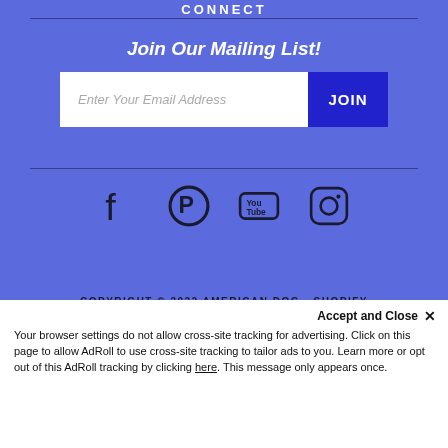CONNECT
Join Our Mailing List!
Enter Your Email Address  JOIN
[Figure (other): Social media icons: Facebook, Pinterest, YouTube, Instagram]
COPYRIGHT © 2022 AMERICAN DOG • SHOPIFY THEME BY UNDERGROUND MEDIA • POWERED BY SHOPIFY
Accept and Close ✕
Your browser settings do not allow cross-site tracking for advertising. Click on this page to allow AdRoll to use cross-site tracking to tailor ads to you. Learn more or opt out of this AdRoll tracking by clicking here. This message only appears once.